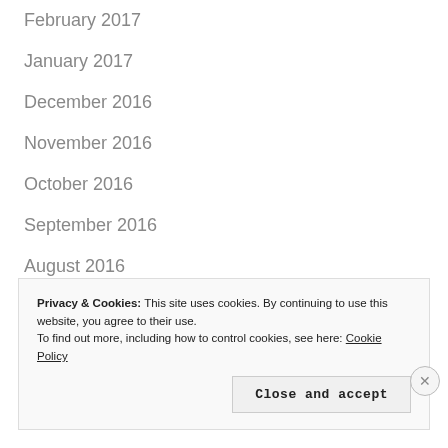February 2017
January 2017
December 2016
November 2016
October 2016
September 2016
August 2016
July 2016
June 2016
Privacy & Cookies: This site uses cookies. By continuing to use this website, you agree to their use. To find out more, including how to control cookies, see here: Cookie Policy
Close and accept